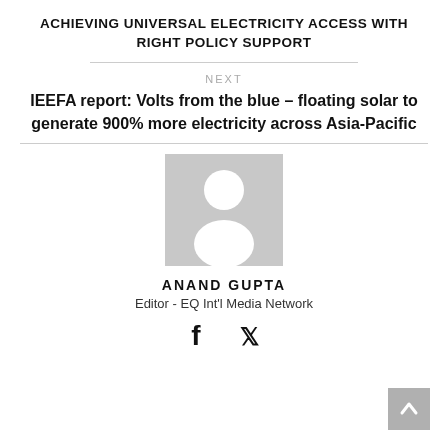ACHIEVING UNIVERSAL ELECTRICITY ACCESS WITH RIGHT POLICY SUPPORT
NEXT
IEEFA report: Volts from the blue – floating solar to generate 900% more electricity across Asia-Pacific
[Figure (photo): Generic user avatar placeholder image — grey square with white silhouette of a person]
ANAND GUPTA
Editor - EQ Int'l Media Network
[Figure (other): Social media icons: Facebook (f) and Twitter bird icon]